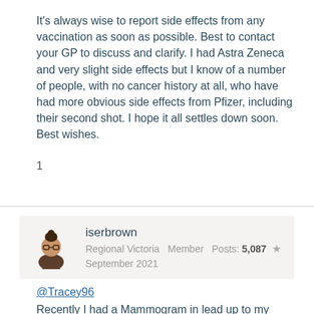It's always wise to report side effects from any vaccination as soon as possible. Best to contact your GP to discuss and clarify. I had Astra Zeneca and very slight side effects but I know of a number of people, with no cancer history at all, who have had more obvious side effects from Pfizer, including their second shot. I hope it all settles down soon. Best wishes.
1
iserbrown
Regional Victoria  Member  Posts: 5,087  ★
September 2021
@Tracey96
Recently I had a Mammogram in lead up to my review with Breast Surgeon.  Prior to Mammogram I was asked a few